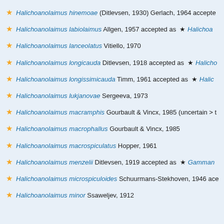Halichoanolaimus hinemoae (Ditlevsen, 1930) Gerlach, 1964 accepted as …
Halichoanolaimus labiolaimus Allgen, 1957 accepted as ★ Halichoa…
Halichoanolaimus lanceolatus Vitiello, 1970
Halichoanolaimus longicauda Ditlevsen, 1918 accepted as ★ Haliche…
Halichoanolaimus longissimicauda Timm, 1961 accepted as ★ Halic…
Halichoanolaimus lukjanovae Sergeeva, 1973
Halichoanolaimus macramphis Gourbault & Vincx, 1985 (uncertain > t…
Halichoanolaimus macrophallus Gourbault & Vincx, 1985
Halichoanolaimus macrospiculatus Hopper, 1961
Halichoanolaimus menzelii Ditlevsen, 1919 accepted as ★ Gamman…
Halichoanolaimus microspiculoides Schuurmans-Stekhoven, 1946 ac…
Halichoanolaimus minor Ssaweljev, 1912